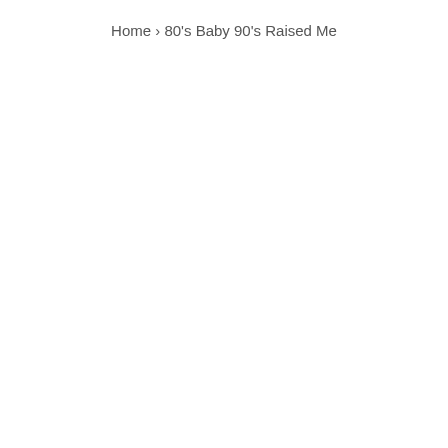Home › 80's Baby 90's Raised Me